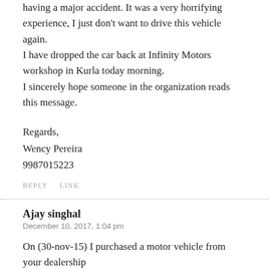having a major accident. It was a very horrifying experience, I just don't want to drive this vehicle again.
I have dropped the car back at Infinity Motors workshop in Kurla today morning.
I sincerely hope someone in the organization reads this message.
Regards,
Wency Pereira
9987015223
REPLY   LINK
Ajay singhal
December 10, 2017, 1:04 pm
On (30-nov-15) I purchased a motor vehicle from your dealership